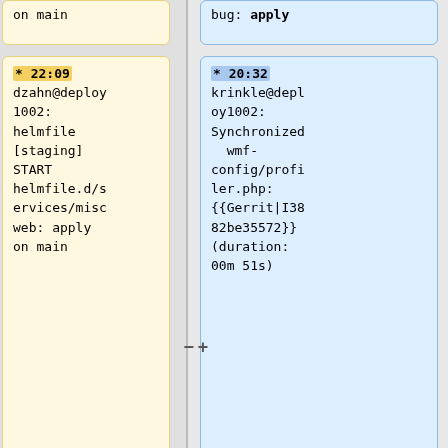on main
bug: apply
* 22:09 dzahn@deploy1002: helmfile [staging] START helmfile.d/services/miscweb: apply on main
* 20:32 krinkle@deploy1002: Synchronized wmf-config/profiler.php: {{Gerrit|I3882be35572}} (duration: 00m 51s)
* 21:47 mwdebug-deploy@deploy1002: helmfile [codfw] DONE helmfile.d/services/mwde...
* 20:31 mwdebug-deploy@deploy1002: helmfile [codfw] START helmfile.d/services/mwde...